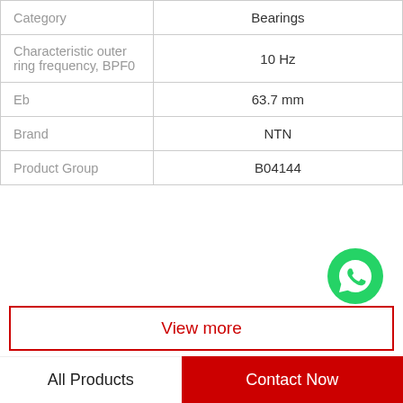| Category | Bearings |
| --- | --- |
| Characteristic outer ring frequency, BPF0 | 10 Hz |
| Eb | 63.7 mm |
| Brand | NTN |
| Product Group | B04144 |
[Figure (logo): WhatsApp green circle icon with phone handset, labeled 'WhatsApp Online' in bold italic]
View more
Company Profile
BEARING-THAILAND CO.,LTD.
All Products | Contact Now